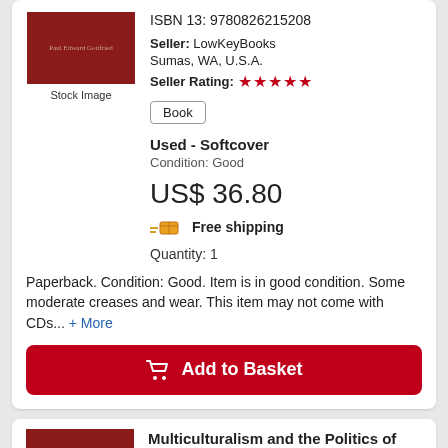ISBN 13: 9780826215208
Seller: LowKeyBooks
Sumas, WA, U.S.A.
Seller Rating: ★★★★★
Book
Used - Softcover
Condition: Good
US$ 36.80
Free shipping
Quantity: 1
Paperback. Condition: Good. Item is in good condition. Some moderate creases and wear. This item may not come with CDs... + More
Add to Basket
Multiculturalism and the Politics of Guilt: Toward a Secular Theocracy